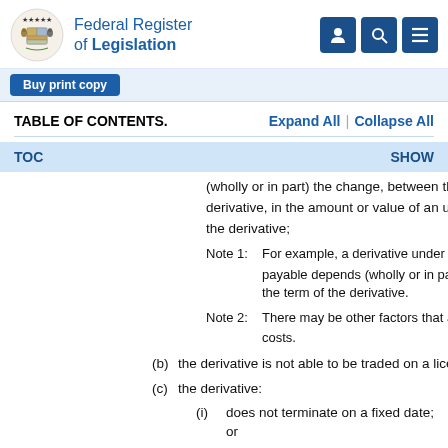Federal Register of Legislation
Buy print copy
TABLE OF CONTENTS.   Expand All | Collapse All
TOC   SHOW
(wholly or in part) the change, between the acquis derivative, in the amount or value of an underlying the derivative;
Note 1: For example, a derivative under which, at terminatio payable depends (wholly or in part) on the change i the term of the derivative.
Note 2: There may be other factors that affect the value of th costs.
(b) the derivative is not able to be traded on a licensed m
(c) the derivative:
(i) does not terminate on a fixed date; or
(ii) if the derivative terminates on a fixed date—it typically terminated before the fixed date;
Note 1: For example, the derivative may have a fixed termi